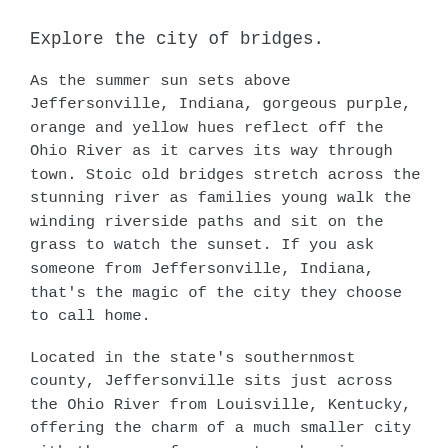Explore the city of bridges.
As the summer sun sets above Jeffersonville, Indiana, gorgeous purple, orange and yellow hues reflect off the Ohio River as it carves its way through town. Stoic old bridges stretch across the stunning river as families young walk the winding riverside paths and sit on the grass to watch the sunset. If you ask someone from Jeffersonville, Indiana, that's the magic of the city they choose to call home.
Located in the state's southernmost county, Jeffersonville sits just across the Ohio River from Louisville, Kentucky, offering the charm of a much smaller city with the ease of access to a booming metropolis.
After spending the day exploring Jeffersonville, stroll across the bridge or hop in a taxi to Louisville, where you can enjoy delicious cuisine, a bounty of live...